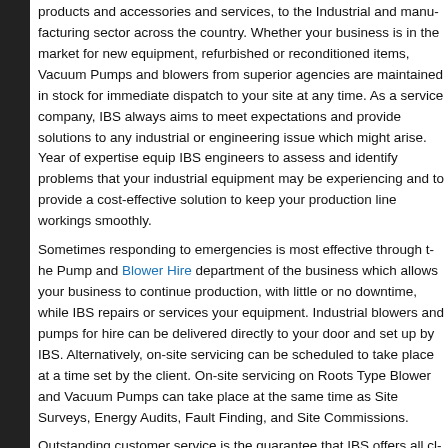products and accessories and services, to the Industrial and manufacturing sector across the country. Whether your business is in the market for new equipment, refurbished or reconditioned items, Vacuum Pumps and blowers from superior are maintained in stock for immediate dispatch to your site at any time. As a service company, IBS always aims to meet expectations and provide solutions to any industrial or engineering issue which might arise. Year of expertise equip IBS engineers to asses and identify problems that your industrial equipment may be experiencing and to provide a cost-effective solution to keep your production line workings smoothly.
Sometimes responding to emergencies is most effective through the Pump and Blower Hire department of the business which allows your business to continue production, with little or no downtime, while IBS repairs or services your equipment. Industrial blowers and pumps for hire can be delivered directly to your door and set up by IBS. Alternatively, on-site servicing can be scheduled to take place at a time set by the client. On-site servicing on Roots Type Blower and Vacuum Pumps can take place at the same time as Site Surveys, Energy Audits, Fault Finding, and Site Commissions.
Outstanding customer service is the guarantee that IBS offers all clients, regardless of location. Products and services are always of the best quality and designed with their function in mind. Engage with the engineers at IBS to investigate and resolve all industrial and production issues that your business may be experiencing as a result of equipment age and lack of service and maintenance. IBS guarantee efficiency irrespective of a project's nature or size.